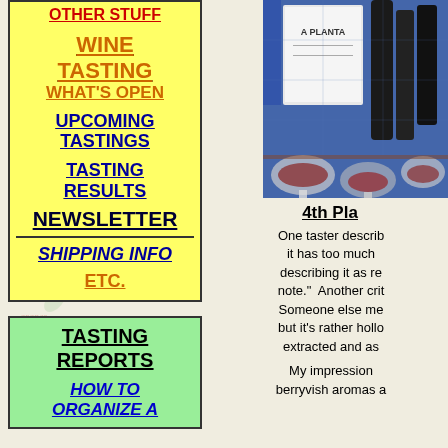OTHER STUFF
WINE TASTING WHAT'S OPEN
UPCOMING TASTINGS
TASTING RESULTS
NEWSLETTER
SHIPPING INFO
ETC.
[Figure (photo): Wine bottles and glasses at a tasting event, with blue background and label showing 'A PLANTA']
4th Pla
One taster describ it has too much describing it as re note." Another crit Someone else me but it's rather hollo extracted and as
My impression berryvish aromas a
TASTING REPORTS
HOW TO ORGANIZE A